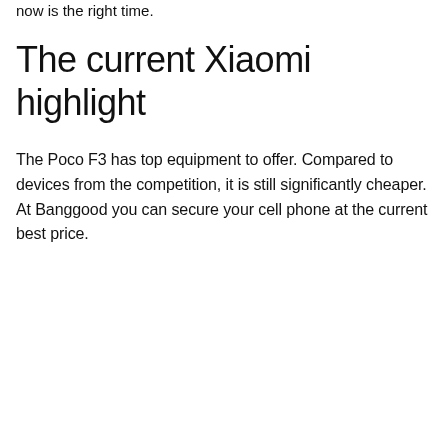now is the right time.
The current Xiaomi highlight
The Poco F3 has top equipment to offer. Compared to devices from the competition, it is still significantly cheaper. At Banggood you can secure your cell phone at the current best price.